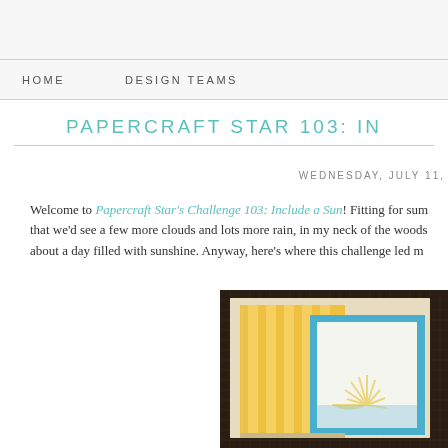HOME    DESIGN TEAMS
PAPERCRAFT STAR 103: IN
WEDNESDAY, JULY 11,
Welcome to Papercraft Star's Challenge 103: Include a Sun!  Fitting for sum that we'd see a few more clouds and lots more rain, in my neck of the woods about a day filled with sunshine.  Anyway, here's where this challenge led m
[Figure (photo): A craft project photo showing layered paper/fabric pieces with yellow stripes, cream matting, blue border, and a sun design on white background, displayed on a dark woven surface.]